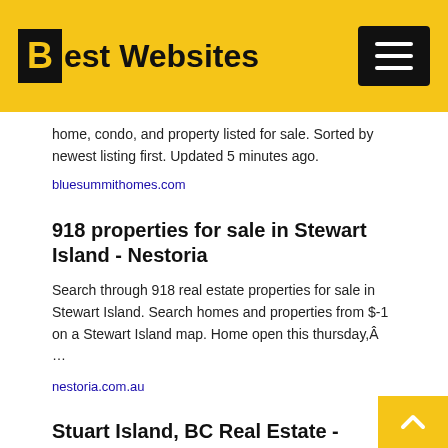Best Websites
home, condo, and property listed for sale. Sorted by newest listing first. Updated 5 minutes ago.
bluesummithomes.com
918 properties for sale in Stewart Island - Nestoria
Search through 918 real estate properties for sale in Stewart Island. Search homes and properties from $-1 on a Stewart Island map. Home open this thursday,Â …
nestoria.com.au
Stuart Island, BC Real Estate - British